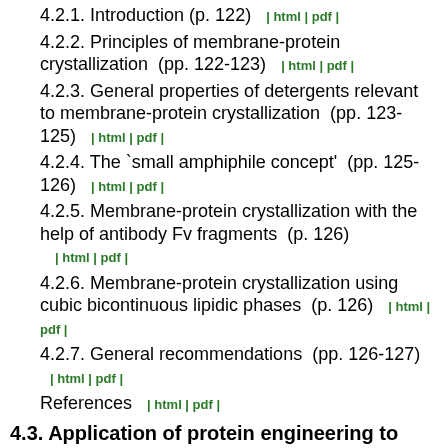4.2.1. Introduction  (p. 122)  | html | pdf |
4.2.2. Principles of membrane-protein crystallization  (pp. 122-123)  | html | pdf |
4.2.3. General properties of detergents relevant to membrane-protein crystallization  (pp. 123-125)  | html | pdf |
4.2.4. The `small amphiphile concept'  (pp. 125-126)  | html | pdf |
4.2.5. Membrane-protein crystallization with the help of antibody Fv fragments  (p. 126)  | html | pdf |
4.2.6. Membrane-protein crystallization using cubic bicontinuous lipidic phases  (p. 126)  | html | pdf |
4.2.7. General recommendations  (pp. 126-127)  | html | pdf |
References  | html | pdf |
4.3. Application of protein engineering to enhance crystallizability and improve crystal properties  (pp. 129-139)  | html | pdf |
chapter contents |